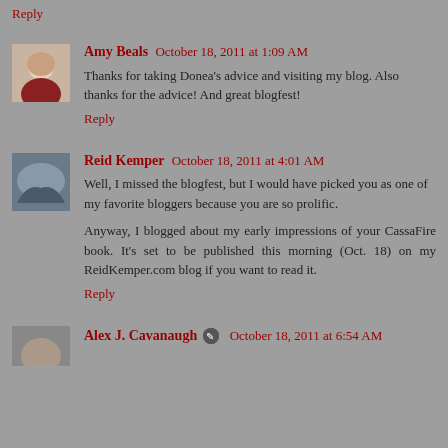Reply
Amy Beals  October 18, 2011 at 1:09 AM
Thanks for taking Donea's advice and visiting my blog. Also thanks for the advice! And great blogfest!
Reply
Reid Kemper  October 18, 2011 at 4:01 AM
Well, I missed the blogfest, but I would have picked you as one of my favorite bloggers because you are so prolific.
Anyway, I blogged about my early impressions of your CassaFire book. It's set to be published this morning (Oct. 18) on my ReidKemper.com blog if you want to read it.
Reply
Alex J. Cavanaugh  October 18, 2011 at 6:54 AM